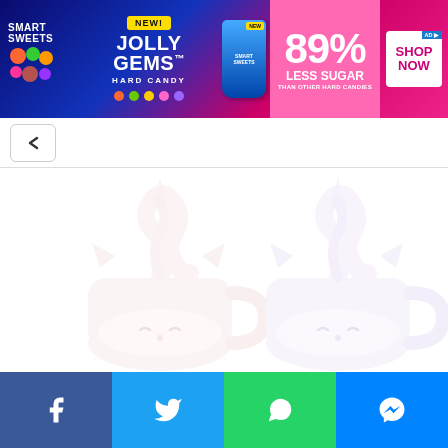[Figure (other): Smart Sweets advertisement banner for Jolly Gems Hard Candy. Text reads: 'SMART SWEETS', 'NEW!', 'JOLLY GEMS HARD CANDY', '89% LESS SUGAR THAN OTHER HARD CANDIES', 'SHOP NOW'. Background is blue/pink gradient with candy imagery and product bag.]
[Figure (photo): Faded/washed-out photo of two cute unicorn mugs with soft-serve ice cream swirls on top, featuring cartoon sleeping-face designs. Very light, almost white appearance.]
[Figure (screenshot): Social media sharing bar at the bottom with four buttons: Facebook (blue), Twitter (light blue), WhatsApp (green), Messenger (blue). Each has a white icon.]